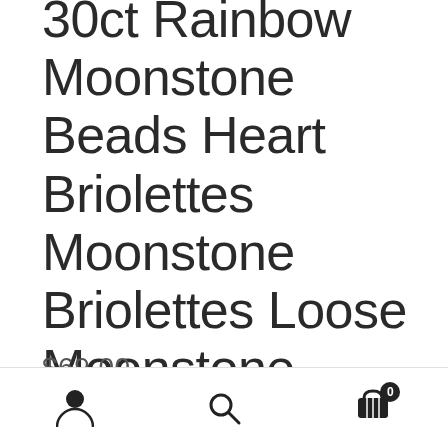30ct Rainbow Moonstone Beads Heart Briolettes Moonstone Briolettes Loose Moonstone Gemstone Beads Strand 10" MN0V6A0001
$69.00
Navigation bar with user, search, and cart (0) icons